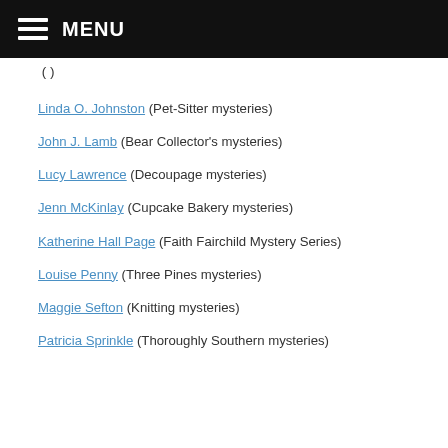MENU
(mystery series – partial/cut off at top)
Linda O. Johnston (Pet-Sitter mysteries)
John J. Lamb (Bear Collector's mysteries)
Lucy Lawrence (Decoupage mysteries)
Jenn McKinlay (Cupcake Bakery mysteries)
Katherine Hall Page (Faith Fairchild Mystery Series)
Louise Penny (Three Pines mysteries)
Maggie Sefton (Knitting mysteries)
Patricia Sprinkle (Thoroughly Southern mysteries)